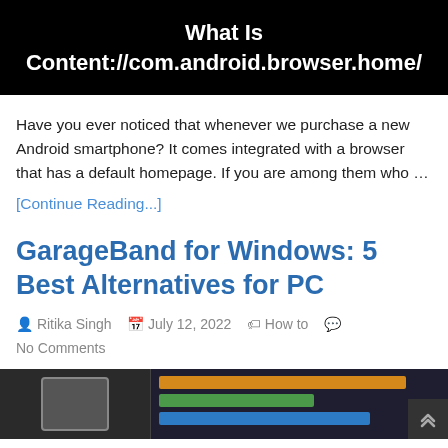What Is Content://com.android.browser.home/
Have you ever noticed that whenever we purchase a new Android smartphone? It comes integrated with a browser that has a default homepage. If you are among them who …
[Continue Reading...]
GarageBand for Windows: 5 Best Alternatives for PC
Ritika Singh   July 12, 2022   How to   No Comments
[Figure (screenshot): Screenshot of GarageBand or similar DAW software showing audio tracks with colored blocks]